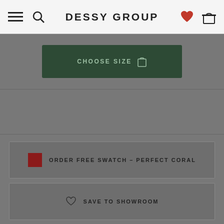DESSY GROUP
CHOOSE SIZE
ORDER FREE SWATCH – PERFECT CORAL
SAVE TO SHOWROOM
CONTACT STYLIST